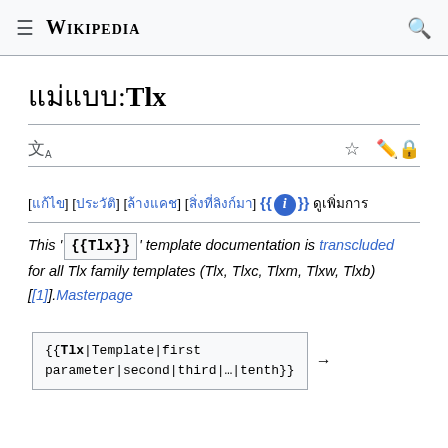≡ WIKIPEDIA 🔍
แม่แบบ:Tlx
[แก้ไข] [ประวัติ] [ล้างแคช] [สิ่งที่ลิงก์มา] {{ℹ}} ดูเพิ่มการ
This ' {{Tlx}} ' template documentation is transcluded for all Tlx family templates (Tlx, Tlxc, Tlxm, Tlxw, Tlxb) [[1]].Masterpage
{{Tlx|Template|first parameter|second|third|…|tenth}} →